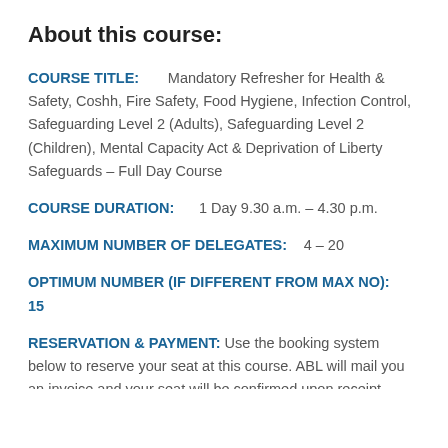About this course:
COURSE TITLE: Mandatory Refresher for Health & Safety, Coshh, Fire Safety, Food Hygiene, Infection Control, Safeguarding Level 2 (Adults), Safeguarding Level 2 (Children), Mental Capacity Act & Deprivation of Liberty Safeguards – Full Day Course
COURSE DURATION: 1 Day 9.30 a.m. – 4.30 p.m.
MAXIMUM NUMBER OF DELEGATES: 4 – 20
OPTIMUM NUMBER (IF DIFFERENT FROM MAX NO): 15
RESERVATION & PAYMENT: Use the booking system below to reserve your seat at this course. ABL will mail you an invoice and your seat will be confirmed upon receipt payment. Please note that